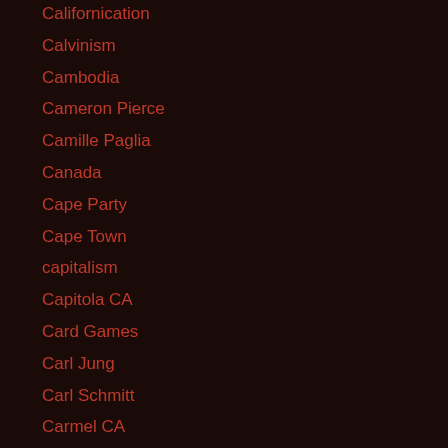Californication
Calvinism
Cambodia
Cameron Pierce
Camille Paglia
Canada
Cape Party
Cape Town
capitalism
Capitola CA
Card Games
Carl Jung
Carl Schmitt
Carmel CA
Carol Jean Sing